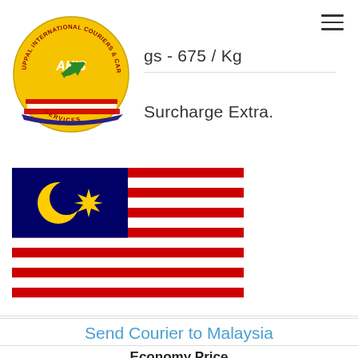[Figure (logo): AK'S Uppal International Couriers & Cargo Services logo with airplane and ship on yellow circular background]
gs - 675 / Kg
Surcharge Extra.
[Figure (illustration): Malaysian national flag (Jalur Gemilang) with red and white stripes, blue canton with yellow crescent moon and 14-pointed star]
Send Courier to Malaysia
Economy Price